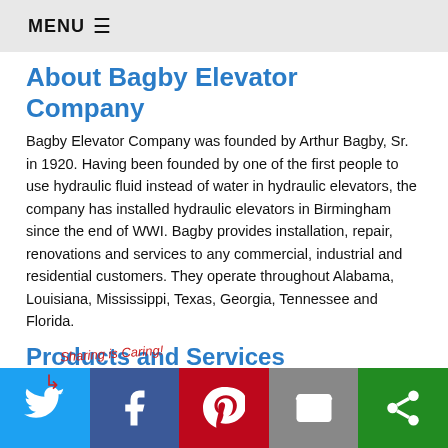MENU ☰
About Bagby Elevator Company
Bagby Elevator Company was founded by Arthur Bagby, Sr. in 1920. Having been founded by one of the first people to use hydraulic fluid instead of water in hydraulic elevators, the company has installed hydraulic elevators in Birmingham since the end of WWI. Bagby provides installation, repair, renovations and services to any commercial, industrial and residential customers. They operate throughout Alabama, Louisiana, Mississippi, Texas, Georgia, Tennessee and Florida.
Products and Services
Bagby can install, repair and maintain Inclinator Company of America® products from residential ele... s... m... te... t... you to go between floors or transport items between floors quickly and
[Figure (screenshot): Social sharing bar with 'Sharing is Caring!' label and buttons for Twitter, Facebook, Pinterest, Email, and Save]